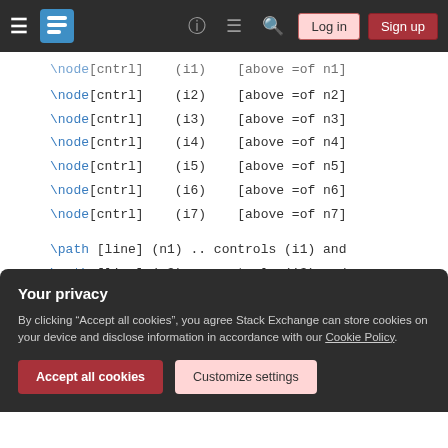Stack Exchange navigation bar with hamburger menu, logo, help, chat, search icons, Log in and Sign up buttons
\node[cntrl] (i1) [above =of n1]
\node[cntrl] (i2) [above =of n2]
\node[cntrl] (i3) [above =of n3]
\node[cntrl] (i4) [above =of n4]
\node[cntrl] (i5) [above =of n5]
\node[cntrl] (i6) [above =of n6]
\node[cntrl] (i7) [above =of n7]

\path [line] (n1) .. controls (i1) and
\path [line] (n3) .. controls (i3) and
\path [line] (i2) .. controls (i2) and
\path [line] (i2) .. controls (i2) and
\path [line] (i2) .. controls (i2) and
Your privacy
By clicking "Accept all cookies", you agree Stack Exchange can store cookies on your device and disclose information in accordance with our Cookie Policy.
Accept all cookies   Customize settings